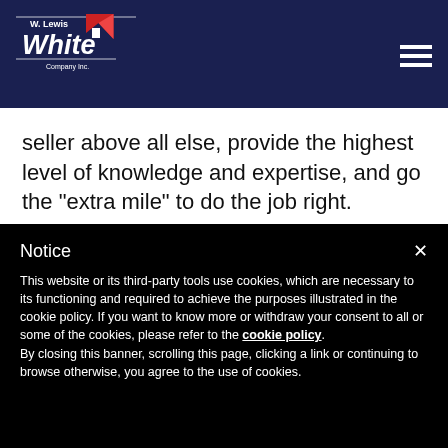[Figure (logo): W. Lewis White Company Inc. logo with house/roof graphic in red and white on dark navy background]
seller above all else, provide the highest level of knowledge and expertise, and go the "extra mile" to do the job right.

To us, this means a strong commitment to
Notice
This website or its third-party tools use cookies, which are necessary to its functioning and required to achieve the purposes illustrated in the cookie policy. If you want to know more or withdraw your consent to all or some of the cookies, please refer to the cookie policy.
By closing this banner, scrolling this page, clicking a link or continuing to browse otherwise, you agree to the use of cookies.